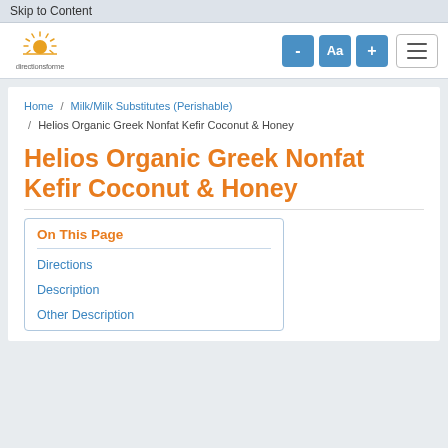Skip to Content
[Figure (logo): directionsforme sun logo with website name]
Home / Milk/Milk Substitutes (Perishable) / Helios Organic Greek Nonfat Kefir Coconut & Honey
Helios Organic Greek Nonfat Kefir Coconut & Honey
On This Page
Directions
Description
Other Description